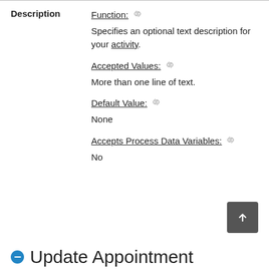Description
Function: 🔗
Specifies an optional text description for your activity.
Accepted Values: 🔗
More than one line of text.
Default Value: 🔗
None
Accepts Process Data Variables: 🔗
No
Update Appointment